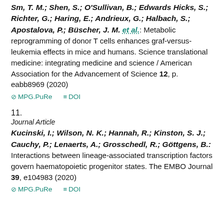Sm, T. M.; Shen, S.; O'Sullivan, B.; Edwards Hicks, S.; Richter, G.; Haring, E.; Andrieux, G.; Halbach, S.; Apostalova, P.; Büscher, J. M. et al.: Metabolic reprogramming of donor T cells enhances graf-versus-leukemia effects in mice and humans. Science translational medicine: integrating medicine and science / American Association for the Advancement of Science 12, p. eabb8969 (2020)
⊘ MPG.PuRe   ≡ DOI
11.
Journal Article
Kucinski, I.; Wilson, N. K.; Hannah, R.; Kinston, S. J.; Cauchy, P.; Lenaerts, A.; Grosschedl, R.; Göttgens, B.: Interactions between lineage-associated transcription factors govern haematopoietic progenitor states. The EMBO Journal 39, e104983 (2020)
⊘ MPG.PuRe   ≡ DOI